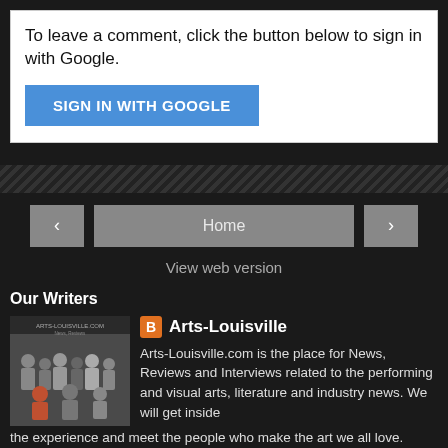To leave a comment, click the button below to sign in with Google.
[Figure (screenshot): Blue 'SIGN IN WITH GOOGLE' button]
[Figure (screenshot): Navigation bar with left arrow, Home button, and right arrow]
View web version
Our Writers
[Figure (photo): Group photo of writers from Arts-Louisville.com with site header text visible]
Arts-Louisville
Arts-Louisville.com is the place for News, Reviews and Interviews related to the performing and visual arts, literature and industry news. We will get inside the experience and meet the people who make the art we all love.
View my complete profile
Powered by Blogger.